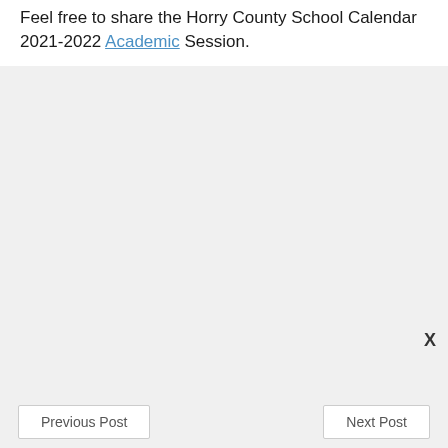Feel free to share the Horry County School Calendar 2021-2022 Academic Session.